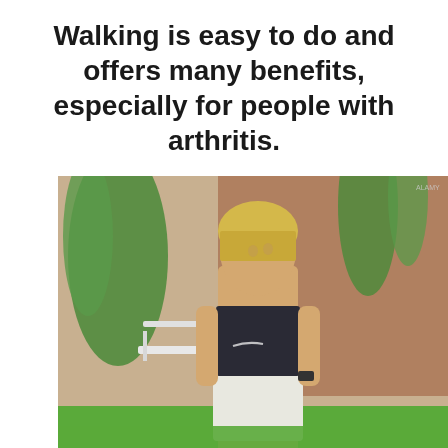Walking is easy to do and offers many benefits, especially for people with arthritis.
[Figure (photo): A fit young woman with blonde hair wearing a black Nike sports bra and white shorts, standing outdoors near a bench and green plants with a brown wall in the background. She appears to be in an athletic/walking context.]